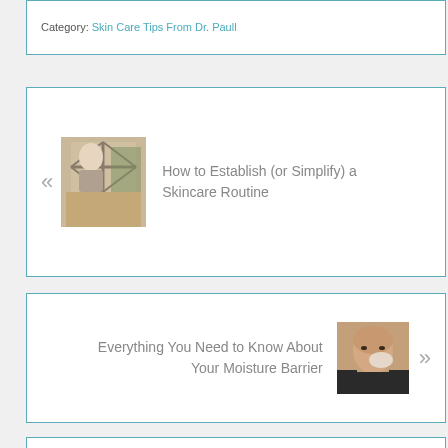Category: Skin Care Tips From Dr. Paull
[Figure (photo): Woman looking in a mirror, used as thumbnail for previous post about skincare routine]
« How to Establish (or Simplify) a Skincare Routine
Everything You Need to Know About Your Moisture Barrier »
[Figure (photo): Man applying product to face, used as thumbnail for next post about moisture barrier]
Leave a Reply